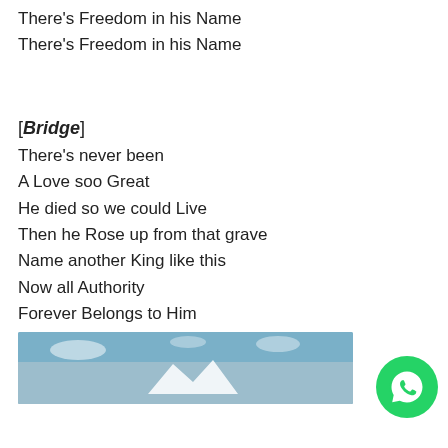There’s Freedom in his Name
There’s Freedom in his Name
[Bridge]
There’s never been
A Love soo Great
He died so we could Live
Then he Rose up from that grave
Name another King like this
Now all Authority
Forever Belongs to Him
He Reigns in Victory
Name another King like this
[Figure (photo): A banner image with a sky and mountain silhouette with a logo/icon in the center]